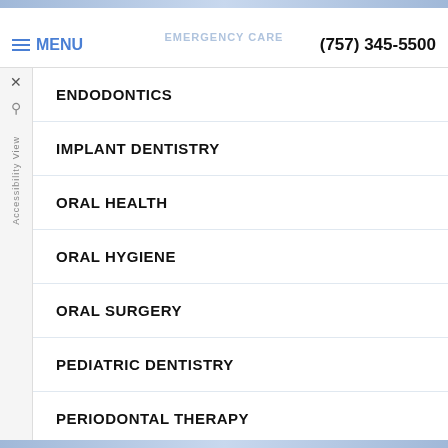EMERGENCY CARE
≡ MENU   (757) 345-5500
ENDODONTICS
IMPLANT DENTISTRY
ORAL HEALTH
ORAL HYGIENE
ORAL SURGERY
PEDIATRIC DENTISTRY
PERIODONTAL THERAPY
TECHNOLOGY